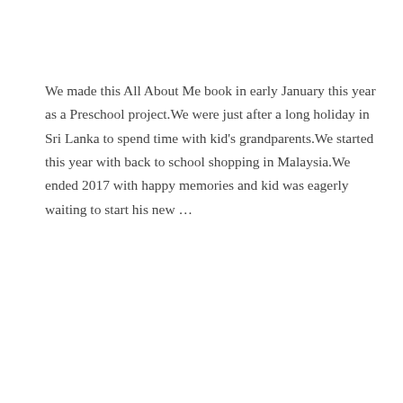We made this All About Me book in early January this year as a Preschool project.We were just after a long holiday in Sri Lanka to spend time with kid’s grandparents.We started this year with back to school shopping in Malaysia.We ended 2017 with happy memories and kid was eagerly waiting to start his new …
Read More »
Paper Lantern Decoration with Preschooler : It’s a Zebra!
DIY/Crafts / By Amila Gamage Wickramarachchi / September 28, 2017